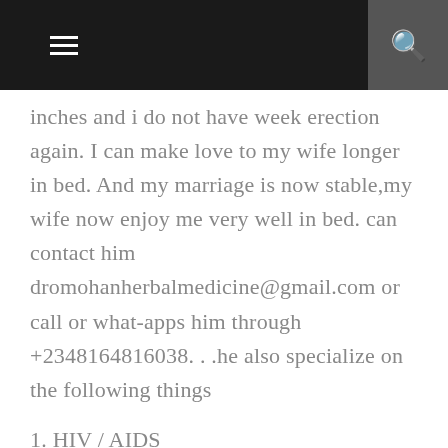Navigation header with menu and search icons
inches and i do not have week erection again. I can make love to my wife longer in bed. And my marriage is now stable,my wife now enjoy me very well in bed. can contact him dromohanherbalmedicine@gmail.com or call or what-apps him through +2348164816038. . .he also specialize on the following things
1. HIV / AIDS
2. HERPES 1/2
3. CANCER
4. ALS (Lou Gehrig's disease)